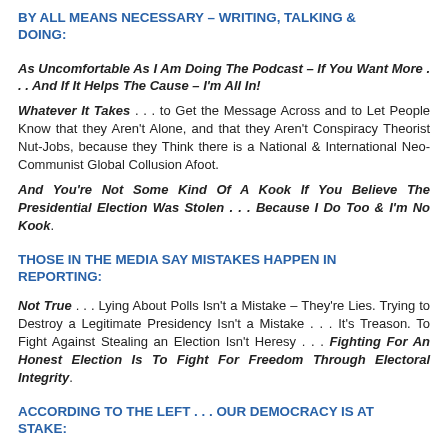BY ALL MEANS NECESSARY – WRITING, TALKING & DOING:
As Uncomfortable As I Am Doing The Podcast – If You Want More . . . And If It Helps The Cause – I'm All In!
Whatever It Takes . . . to Get the Message Across and to Let People Know that they Aren't Alone, and that they Aren't Conspiracy Theorist Nut-Jobs, because they Think there is a National & International Neo-Communist Global Collusion Afoot.
And You're Not Some Kind Of A Kook If You Believe The Presidential Election Was Stolen . . . Because I Do Too & I'm No Kook.
THOSE IN THE MEDIA SAY MISTAKES HAPPEN IN REPORTING:
Not True . . . Lying About Polls Isn't a Mistake – They're Lies. Trying to Destroy a Legitimate Presidency Isn't a Mistake . . . It's Treason. To Fight Against Stealing an Election Isn't Heresy . . . Fighting For An Honest Election Is To Fight For Freedom Through Electoral Integrity.
ACCORDING TO THE LEFT . . . OUR DEMOCRACY IS AT STAKE: